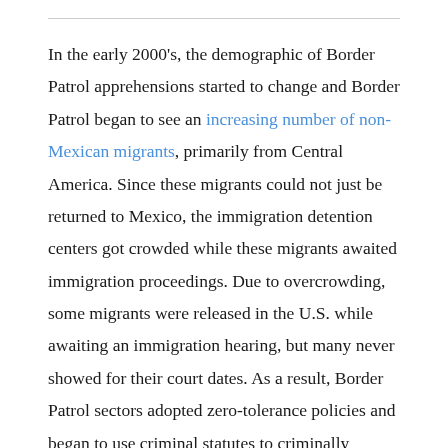In the early 2000's, the demographic of Border Patrol apprehensions started to change and Border Patrol began to see an increasing number of non-Mexican migrants, primarily from Central America. Since these migrants could not just be returned to Mexico, the immigration detention centers got crowded while these migrants awaited immigration proceedings. Due to overcrowding, some migrants were released in the U.S. while awaiting an immigration hearing, but many never showed for their court dates. As a result, Border Patrol sectors adopted zero-tolerance policies and began to use criminal statutes to criminally prosecute migrants for unlawful entry, prior